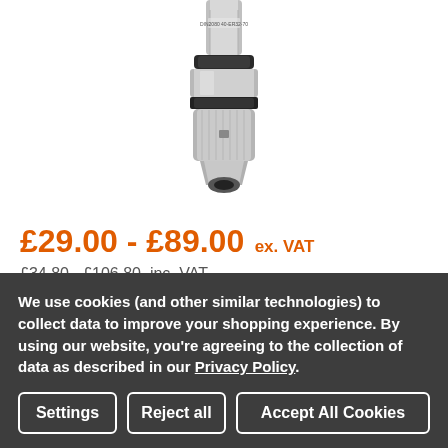[Figure (photo): Product photo of a CNC tool holder / ER collet chuck, metallic silver/chrome finish with black rings, partially cropped at top]
£29.00 - £89.00 ex. VAT
£34.80 - £106.80  inc. VAT
Gauge Length:  Required
We use cookies (and other similar technologies) to collect data to improve your shopping experience. By using our website, you're agreeing to the collection of data as described in our Privacy Policy.
Settings | Reject all | Accept All Cookies